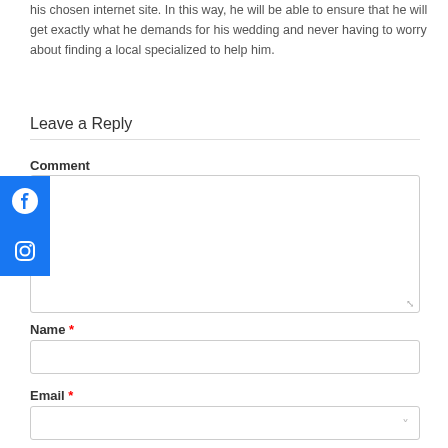his chosen internet site. In this way, he will be able to ensure that he will get exactly what he demands for his wedding and never having to worry about finding a local specialized to help him.
Leave a Reply
Comment
[Figure (logo): Facebook icon button (blue square with white Facebook 'f' circle logo)]
[Figure (logo): Instagram icon button (blue square with white Instagram camera logo)]
Name *
Email *